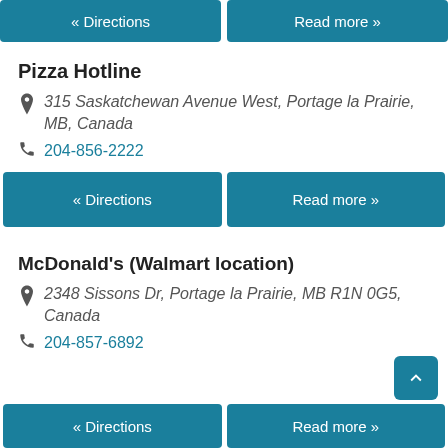« Directions
Read more »
Pizza Hotline
315 Saskatchewan Avenue West, Portage la Prairie, MB, Canada
204-856-2222
« Directions
Read more »
McDonald's (Walmart location)
2348 Sissons Dr, Portage la Prairie, MB R1N 0G5, Canada
204-857-6892
« Directions
Read more »